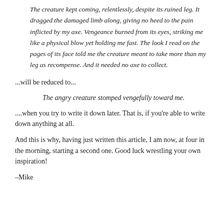The creature kept coming, relentlessly, despite its ruined leg. It dragged the damaged limb along, giving no heed to the pain inflicted by my axe. Vengeance burned from its eyes, striking me like a physical blow yet holding me fast. The look I read on the pages of its face told me the creature meant to take more than my leg as recompense. And it needed no axe to collect.
...will be reduced to...
The angry creature stomped vengefully toward me.
....when you try to write it down later. That is, if you're able to write down anything at all.
And this is why, having just written this article, I am now, at four in the morning, starting a second one. Good luck wrestling your own inspiration!
–Mike